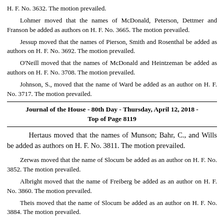H. F. No. 3632.  The motion prevailed.
Lohmer moved that the names of McDonald, Peterson, Dettmer and Franson be added as authors on H. F. No. 3665.  The motion prevailed.
Jessup moved that the names of Pierson, Smith and Rosenthal be added as authors on H. F. No. 3692.  The motion prevailed.
O'Neill moved that the names of McDonald and Heintzeman be added as authors on H. F. No. 3708.  The motion prevailed.
Johnson, S., moved that the name of Ward be added as an author on H. F. No. 3717.  The motion prevailed.
Journal of the House - 80th Day - Thursday, April 12, 2018 - Top of Page 8119
Hertaus moved that the names of Munson; Bahr, C., and Wills be added as authors on H. F. No. 3811.  The motion prevailed.
Zerwas moved that the name of Slocum be added as an author on H. F. No. 3852.  The motion prevailed.
Albright moved that the name of Freiberg be added as an author on H. F. No. 3860.  The motion prevailed.
Theis moved that the name of Slocum be added as an author on H. F. No. 3884.  The motion prevailed.